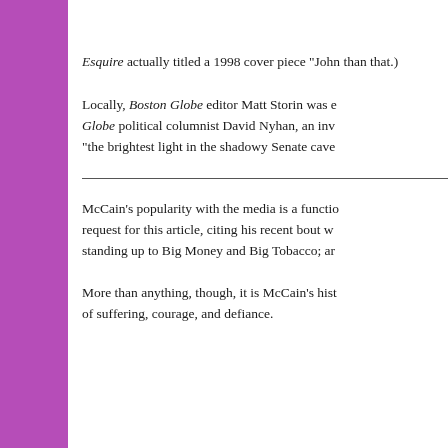Esquire actually titled a 1998 cover piece "John… than that.)
Locally, Boston Globe editor Matt Storin was e… Globe political columnist David Nyhan, an inv… "the brightest light in the shadowy Senate cave…
McCain's popularity with the media is a functio… request for this article, citing his recent bout w… standing up to Big Money and Big Tobacco; ar…
More than anything, though, it is McCain's hist… of suffering, courage, and defiance.